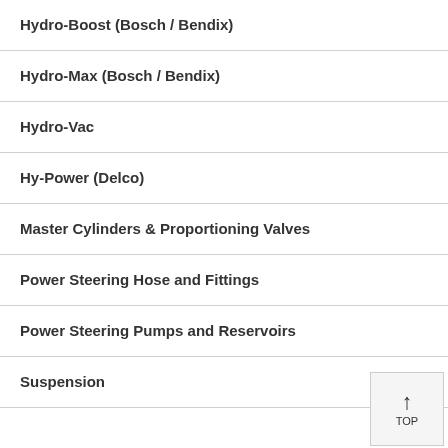Hydro-Boost (Bosch / Bendix)
Hydro-Max (Bosch / Bendix)
Hydro-Vac
Hy-Power (Delco)
Master Cylinders & Proportioning Valves
Power Steering Hose and Fittings
Power Steering Pumps and Reservoirs
Suspension